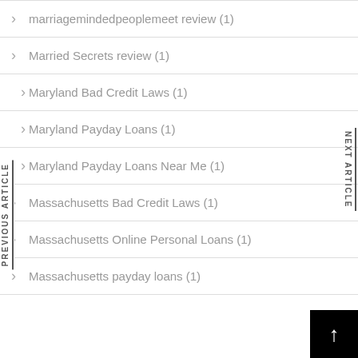marriagemindedpeoplemeet review (1)
Married Secrets review (1)
Maryland Bad Credit Laws (1)
Maryland Payday Loans (1)
Maryland Payday Loans Near Me (1)
Massachusetts Bad Credit Laws (1)
Massachusetts Online Personal Loans (1)
Massachusetts payday loans (1)